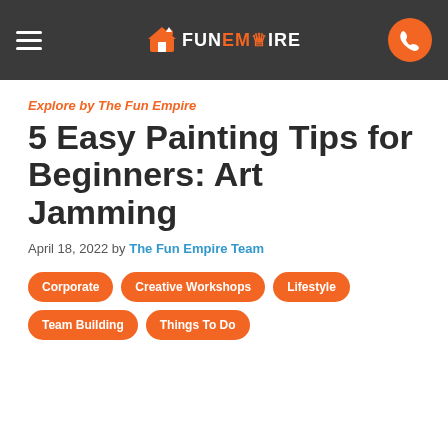FunEmpire navigation bar with hamburger menu, logo, and phone button
Explore by The Fun Empire
5 Easy Painting Tips for Beginners: Art Jamming
April 18, 2022 by The Fun Empire Team
Corporate
Creative Workshops
Lifestyle
Team Building
Things To Do